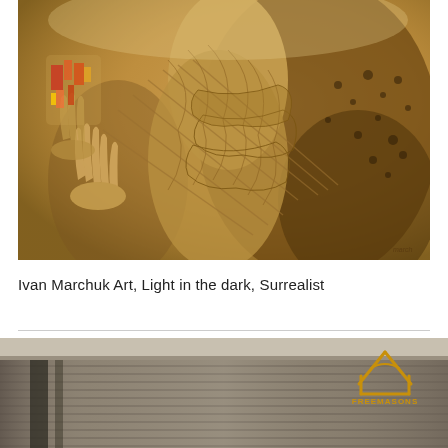[Figure (illustration): Ivan Marchuk surrealist painting 'Light in the dark' — warm golden-brown tones with intricate woven/skeletal forms, elongated figures and hands, highly detailed texture]
Ivan Marchuk Art, Light in the dark, Surrealist
[Figure (photo): Bottom portion: a modern building interior/exterior with horizontal wooden slat panels, bluish-grey tones. Freemasons NSW & ACT logo (golden square and compass symbol with text) overlaid in upper right.]